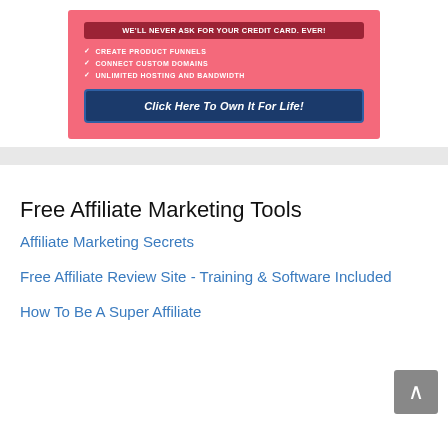[Figure (infographic): Pink promotional banner with dark red badge saying WE'LL NEVER ASK FOR YOUR CREDIT CARD. EVER!, three checkmark features (CREATE PRODUCT FUNNELS, CONNECT CUSTOM DOMAINS, UNLIMITED HOSTING AND BANDWIDTH), and a dark navy CTA button saying Click Here To Own It For Life!]
Free Affiliate Marketing Tools
Affiliate Marketing Secrets
Free Affiliate Review Site - Training & Software Included
How To Be A Super Affiliate